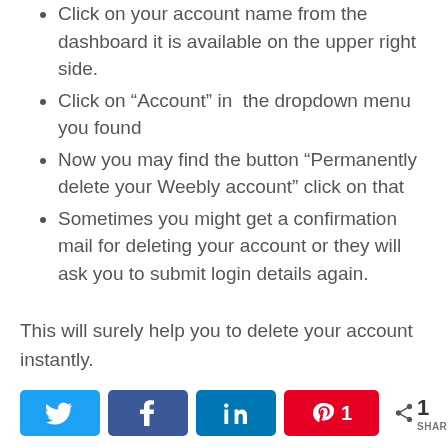Click on your account name from the dashboard it is available on the upper right side.
Click on “Account” in  the dropdown menu you found
Now you may find the button “Permanently delete your Weebly account” click on that
Sometimes you might get a confirmation mail for deleting your account or they will ask you to submit login details again.
This will surely help you to delete your account instantly.
[Figure (infographic): Social share buttons: Twitter, Facebook, LinkedIn, Pinterest with count 1, and share icon with SHARES label]